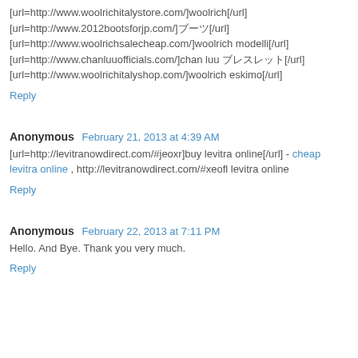[url=http://www.woolrichitalystore.com/]woolrich[/url]
[url=http://www.2012bootsforjp.com/]&#x30D6;&#x30FC;&#x30C4;[/url]
[url=http://www.woolrichsalecheap.com/]woolrich modelli[/url]
[url=http://www.chanluuofficials.com/]chan luu &#x30D6;&#x30EC;&#x30B9;&#x30EC;&#x30C3;&#x30C8;[/url]
[url=http://www.woolrichitalyshop.com/]woolrich eskimo[/url]
Reply
Anonymous  February 21, 2013 at 4:39 AM
[url=http://levitranowdirect.com/#jeoxr]buy levitra online[/url] - cheap levitra online , http://levitranowdirect.com/#xeofl levitra online
Reply
Anonymous  February 22, 2013 at 7:11 PM
Hello. And Bye. Thank you very much.
Reply